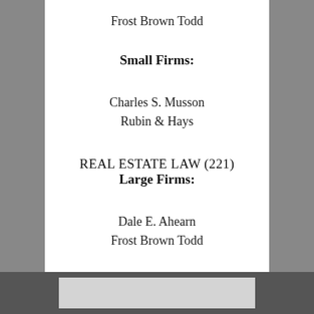Frost Brown Todd
Small Firms:
Charles S. Musson
Rubin & Hays
REAL ESTATE LAW (221)
Large Firms:
Dale E. Ahearn
Frost Brown Todd
Clifford H. Ashburner